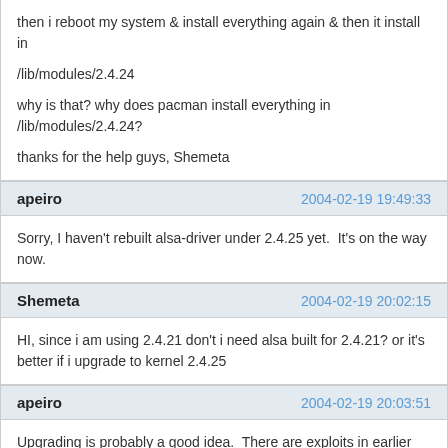then i reboot my system & install everything again & then it install in /lib/modules/2.4.24

why is that? why does pacman install everything in /lib/modules/2.4.24?

thanks for the help guys, Shemeta
apeiro — 2004-02-19 19:49:33
Sorry, I haven't rebuilt alsa-driver under 2.4.25 yet.  It's on the way now.
Shemeta — 2004-02-19 20:02:15
HI, since i am using 2.4.21 don't i need alsa built for 2.4.21? or it's better if i upgrade to kernel 2.4.25
apeiro — 2004-02-19 20:03:51
Upgrading is probably a good idea.  There are exploits in earlier versions.  If you stick with 2.4.21 for some reason, you'll have to build your own copy of alsa-driver.